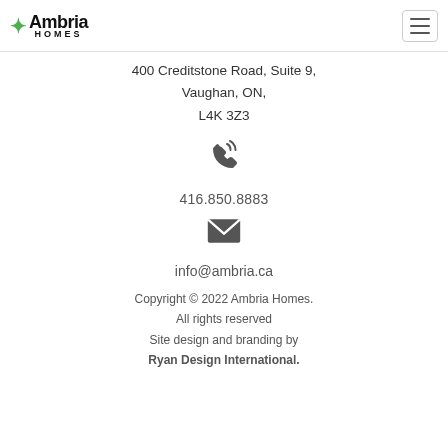Ambria Homes
400 Creditstone Road, Suite 9,
Vaughan, ON,
L4K 3Z3
[Figure (illustration): Phone icon with signal waves]
416.850.8883
[Figure (illustration): Email envelope icon]
info@ambria.ca
Copyright © 2022 Ambria Homes.
All rights reserved
Site design and branding by
Ryan Design International.